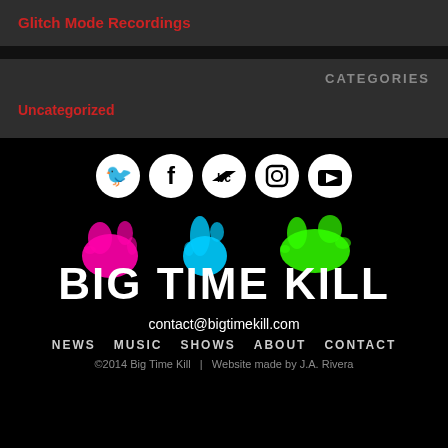Glitch Mode Recordings
CATEGORIES
Uncategorized
[Figure (logo): Big Time Kill logo with social media icons (Twitter, Facebook, Bandcamp, Instagram, YouTube) and colorful paint splashes (pink, cyan, green) above the band name text]
contact@bigtimekill.com
NEWS  MUSIC  SHOWS  ABOUT  CONTACT
©2014 Big Time Kill  |  Website made by J.A. Rivera